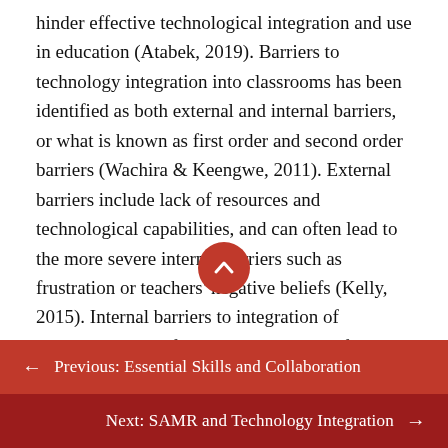hinder effective technological integration and use in education (Atabek, 2019). Barriers to technology integration into classrooms has been identified as both external and internal barriers, or what is known as first order and second order barriers (Wachira & Keengwe, 2011). External barriers include lack of resources and technological capabilities, and can often lead to the more severe internal barriers such as frustration or teachers' negative beliefs (Kelly, 2015). Internal barriers to integration of technology are defined as teachers' beliefs and frustrations, lack of pedagogical purpose, lack of knowledge, as well as past negative experiences, and these barriers are largely more detrimental to a tech-integrated learning experience than any external barrier (Kelly,
← Previous: Essential Skills and Collaboration
Next: SAMR and Technology Integration →